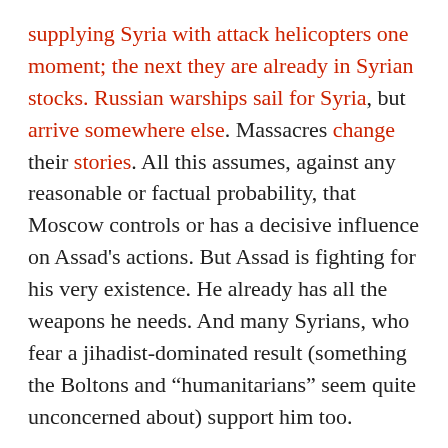supplying Syria with attack helicopters one moment; the next they are already in Syrian stocks. Russian warships sail for Syria, but arrive somewhere else. Massacres change their stories. All this assumes, against any reasonable or factual probability, that Moscow controls or has a decisive influence on Assad's actions. But Assad is fighting for his very existence. He already has all the weapons he needs. And many Syrians, who fear a jihadist-dominated result (something the Boltons and “humanitarians” seem quite unconcerned about) support him too.
Moscow’s alleged support of Assad’s regime is said to hinge on two vital interests: its “naval base” at Tartus and its desire to preserve arms sales to Syria. But,